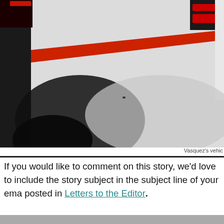[Figure (photo): Close-up photograph of a vehicle exterior showing white bodywork with red stripe/stripe detail and a dark shadow area. Appears to be Vasquez's vehicle.]
Vasquez's vehic
If you would like to comment on this story, we'd love to include the story subject in the subject line of your ema posted in Letters to the Editor.